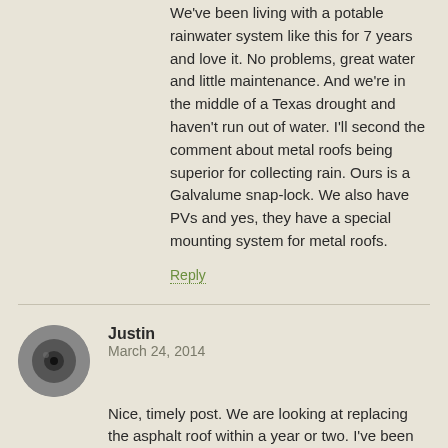We've been living with a potable rainwater system like this for 7 years and love it. No problems, great water and little maintenance. And we're in the middle of a Texas drought and haven't run out of water. I'll second the comment about metal roofs being superior for collecting rain. Ours is a Galvalume snap-lock. We also have PVs and yes, they have a special mounting system for metal roofs.
Reply
[Figure (photo): Circular avatar photo of user Justin, showing a dark circular object]
Justin
March 24, 2014
Nice, timely post. We are looking at replacing the asphalt roof within a year or two. I've been thinking of metal since the costs aren't that much higher. We have occasional leaks caused by high winds (we are at the bottom of a valley with no trees to break the wind coming off the lake). I figure metal will be more durable and we won't have any more blown off shingles.
Reply
[Figure (photo): Circular avatar photo of user Christine, partially visible at bottom]
Christine